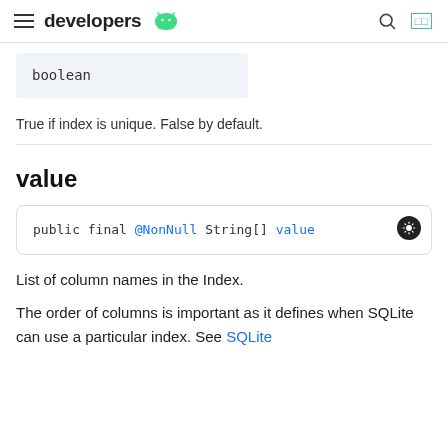developers [android logo]
boolean
True if index is unique. False by default.
value
public final @NonNull String[] value
List of column names in the Index.
The order of columns is important as it defines when SQLite can use a particular index. See SQLite